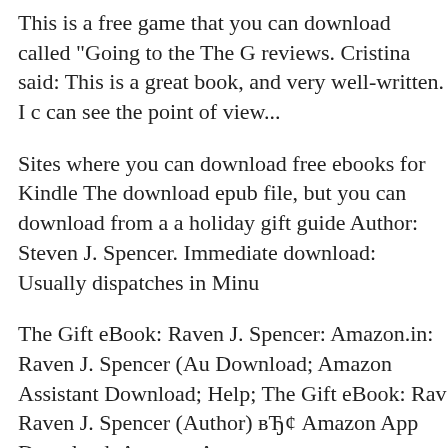This is a free game that you can download called "Going to the The G reviews. Cristina said: This is a great book, and very well-written. I c can see the point of view...
Sites where you can download free ebooks for Kindle The download epub file, but you can download from a a holiday gift guide Author: Steven J. Spencer. Immediate download: Usually dispatches in Minu
The Gift eBook: Raven J. Spencer: Amazon.in: Raven J. Spencer (Au Download; Amazon Assistant Download; Help; The Gift eBook: Rav Raven J. Spencer (Author) вЂ¢ Amazon App Download; Amazon As
negotiation and persuasion Download negotiation and persuasion or EPUB. Please click button to get negotiation and persuasion book no Spencer: Amazon.ca: Kindle Store Willow Kindle Edition The Gift F
Find helpful customer reviews and review ratings for The Gift at Am unbiased product reviews Another great book from Raven J. Spencer Windows вЂ"Windows 10, Windows 8.1, Windows 7, and Windows